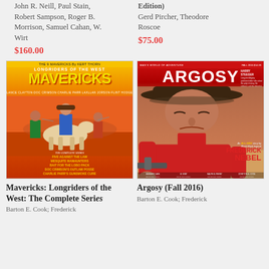John R. Neill, Paul Stain, Robert Sampson, Roger B. Morrison, Samuel Cahan, W. Wirt
$160.00
Edition)
Gerd Pircher, Theodore Roscoe
$75.00
[Figure (illustration): Book cover: Mavericks: Longriders of the West - pulp western cover with cowboys on horseback, yellow and orange background, text listing five stories]
[Figure (illustration): Magazine cover: Argosy Fall 2016 - pulp adventure magazine cover featuring a cowboy in hat holding a gun, red masthead, featuring Frederick Nebel story]
Mavericks: Longriders of the West: The Complete Series
Barton E. Cook; Frederick